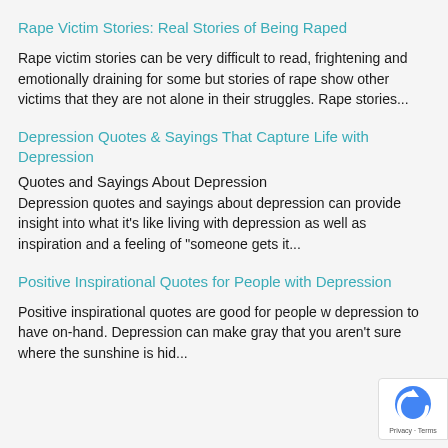Rape Victim Stories: Real Stories of Being Raped
Rape victim stories can be very difficult to read, frightening and emotionally draining for some but stories of rape show other victims that they are not alone in their struggles. Rape stories...
Depression Quotes & Sayings That Capture Life with Depression
Quotes and Sayings About Depression
Depression quotes and sayings about depression can provide insight into what it's like living with depression as well as inspiration and a feeling of "someone gets it...
Positive Inspirational Quotes for People with Depression
Positive inspirational quotes are good for people w depression to have on-hand. Depression can make gray that you aren't sure where the sunshine is hid...